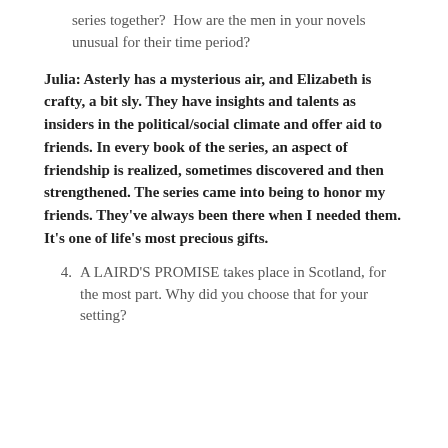series together?  How are the men in your novels unusual for their time period?
Julia: Asterly has a mysterious air, and Elizabeth is crafty, a bit sly. They have insights and talents as insiders in the political/social climate and offer aid to friends. In every book of the series, an aspect of friendship is realized, sometimes discovered and then strengthened. The series came into being to honor my friends. They've always been there when I needed them. It's one of life's most precious gifts.
4. A LAIRD'S PROMISE takes place in Scotland, for the most part. Why did you choose that for your setting?